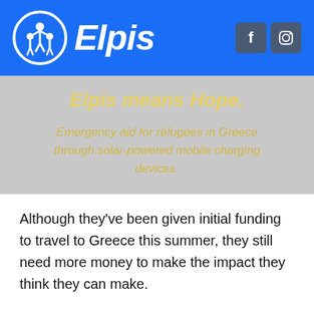[Figure (logo): Elpis logo with white circle icon showing family figures, italic bold white 'Elpis' text on blue background, with Facebook and Instagram social media icons on right]
Elpis means Hope.
Emergency aid for refugees in Greece through solar-powered mobile charging devices.
Although they've been given initial funding to travel to Greece this summer, they still need more money to make the impact they think they can make.